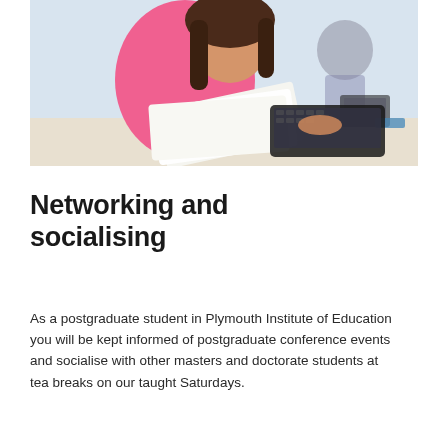[Figure (photo): A young woman in a pink top studying at a desk, looking at papers and a laptop. A blurred person is visible in the background.]
Networking and socialising
As a postgraduate student in Plymouth Institute of Education you will be kept informed of postgraduate conference events and socialise with other masters and doctorate students at tea breaks on our taught Saturdays.